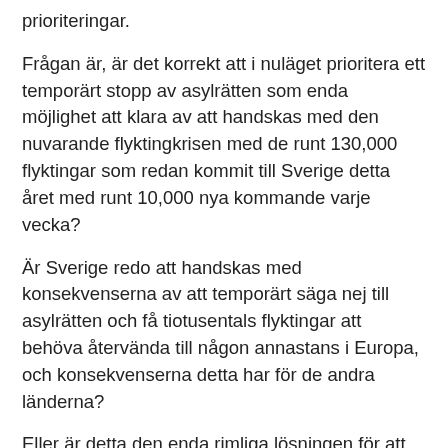prioriteringar.
Frågan är, är det korrekt att i nuläget prioritera ett temporärt stopp av asylrätten som enda möjlighet att klara av att handskas med den nuvarande flyktingkrisen med de runt 130,000 flyktingar som redan kommit till Sverige detta året med runt 10,000 nya kommande varje vecka?
Är Sverige redo att handskas med konsekvenserna av att temporärt säga nej till asylrätten och få tiotusentals flyktingar att behöva återvända till någon annastans i Europa, och konsekvenserna detta har för de andra länderna?
Eller är detta den enda rimliga lösningen för att hantera "läckan i den sjunkande båten" så att vi kan ha en chans att handskas med de redan oerhört pressande problemen och konsekvenserna faktum att tusentals människor i